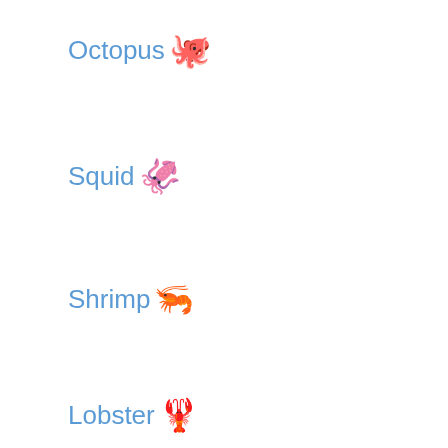Octopus 🐙
Squid 🦑
Shrimp 🦐
Lobster 🦞
Crab 🦀
Blowfish 🐡
Tropical Fi 🐠
Fish 🐟
🐬 (partially visible)